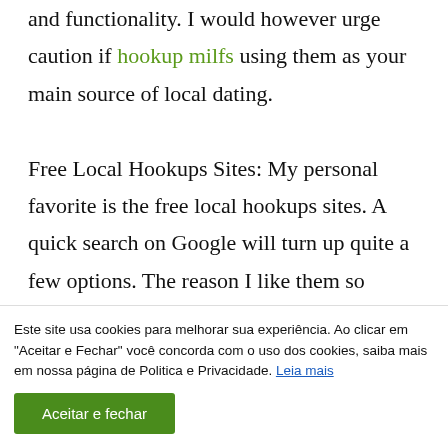and functionality. I would however urge caution if hookup milfs using them as your main source of local dating.

Free Local Hookups Sites: My personal favorite is the free local hookups sites. A quick search on Google will turn up quite a few options. The reason I like them so
Este site usa cookies para melhorar sua experiência. Ao clicar em "Aceitar e Fechar" você concorda com o uso dos cookies, saiba mais em nossa página de Politica e Privacidade. Leia mais
Aceitar e fechar